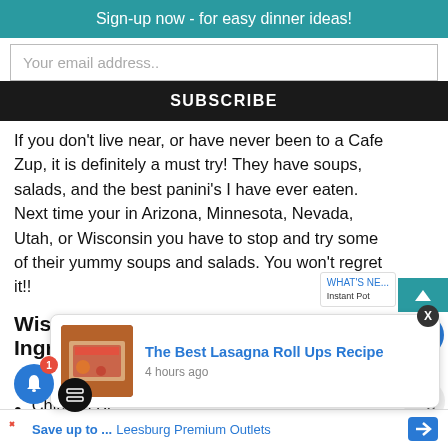Sign-up now - for easy dinner ideas!
Your email address..
SUBSCRIBE
If you don't live near, or have never been to a Cafe Zup, it is definitely a must try! They have soups, salads, and the best panini's I have ever eaten. Next time your in Arizona, Minnesota, Nevada, Utah, or Wisconsin you have to stop and try some of their yummy soups and salads. You won't regret it!!
Wisconsin Cauliflower Soup Ingredients
Cauliflower
Chicken Br
The Best Lasagna Roll Ups Recipe
4 hours ago
744
Save up to ... Leesburg Premium Outlets